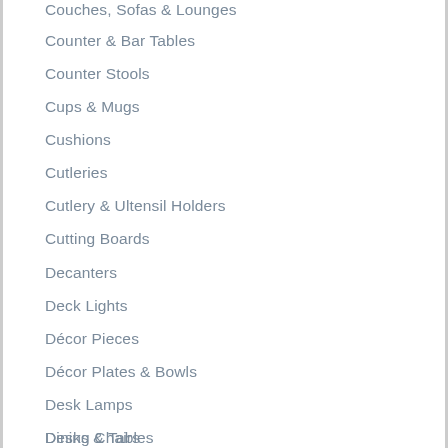Counter & Bar Tables
Counter Stools
Cups & Mugs
Cushions
Cutleries
Cutlery & Ultensil Holders
Cutting Boards
Decanters
Deck Lights
Décor Pieces
Décor Plates & Bowls
Desk Lamps
Desks & Tables
Dining Benches
Dining Chairs